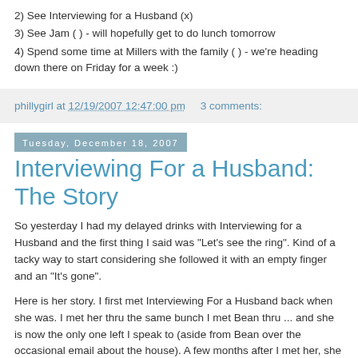2) See Interviewing for a Husband (x)
3) See Jam ( ) - will hopefully get to do lunch tomorrow
4) Spend some time at Millers with the family ( ) - we're heading down there on Friday for a week :)
phillygirl at 12/19/2007 12:47:00 pm     3 comments:
Tuesday, December 18, 2007
Interviewing For a Husband: The Story
So yesterday I had my delayed drinks with Interviewing for a Husband and the first thing I said was "Let's see the ring". Kind of a tacky way to start considering she followed it with an empty finger and an "It's gone".
Here is her story. I first met Interviewing For a Husband back when she was. I met her thru the same bunch I met Bean thru ... and she is now the only one left I speak to (aside from Bean over the occasional email about the house). A few months after I met her, she met this boy, let's call him CommitmentPhobia (although she didn't know so at the time). She and CommitmentPhobia were inseperable and blissfully happy for